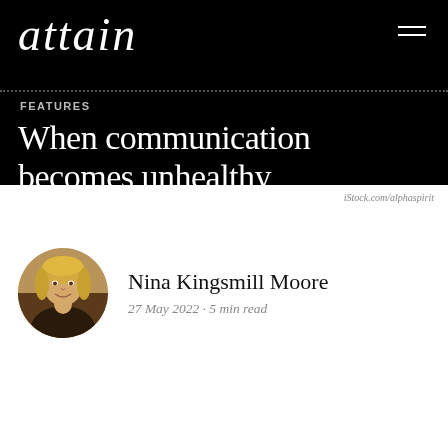attain
FEATURES
When communication becomes unhealthy
iStock.com/alphaspirit
Nina Kingsmill Moore
27 May 2022 · 5 min read